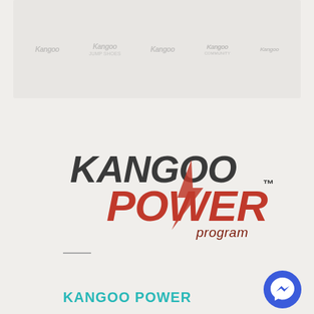[Figure (screenshot): Top strip showing multiple Kangoo product/logo watermarks on a light gray background]
[Figure (logo): Kangoo Power Program logo: KANGOO in dark gray bold italic, POWER in large red bold italic, with a red lightning bolt slash through the W, and 'program' in dark red, with TM superscript]
KANGOO POWER